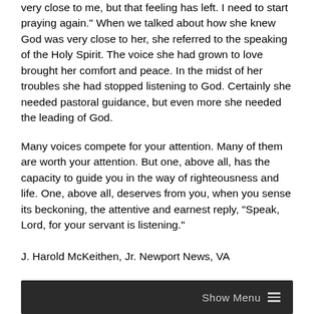very close to me, but that feeling has left. I need to start praying again." When we talked about how she knew God was very close to her, she referred to the speaking of the Holy Spirit. The voice she had grown to love brought her comfort and peace. In the midst of her troubles she had stopped listening to God. Certainly she needed pastoral guidance, but even more she needed the leading of God.
Many voices compete for your attention. Many of them are worth your attention. But one, above all, has the capacity to guide you in the way of righteousness and life. One, above all, deserves from you, when you sense its beckoning, the attentive and earnest reply, "Speak, Lord, for your servant is listening."
J. Harold McKeithen, Jr. Newport News, VA
Show Menu